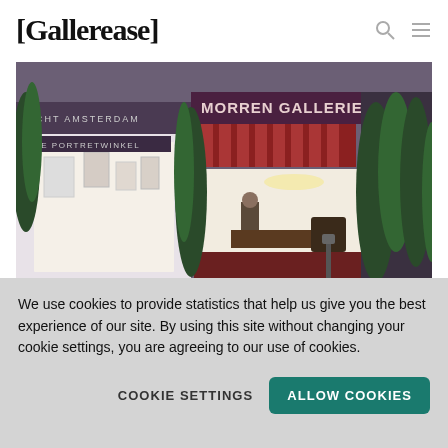[Gallerease]
[Figure (photo): Exterior photo of Morren Galleries in Utrecht, The Netherlands. A storefront with ivy-covered walls, large display windows showing artwork inside, and signage reading 'MORREN GALLERIES' and 'DE PORTRETWINKEL'.]
UTRECHT, THE NETHERLANDS
We use cookies to provide statistics that help us give you the best experience of our site. By using this site without changing your cookie settings, you are agreeing to our use of cookies.
COOKIE SETTINGS
ALLOW COOKIES